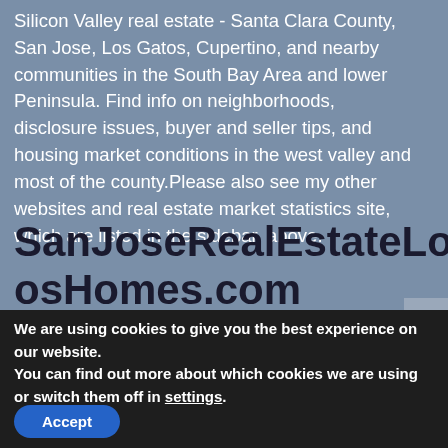Silicon Valley real estate - Santa Clara County, San Jose, Los Gatos, Cupertino, and nearby communities in the South Bay Area and lower Peninsula. Find info on neighborhoods, disclosure issues, buyer and seller tips, and housing market conditions in the west valley and most of the county.Please also see my other websites and real estate market statistics site, which are listed in the sidebar, above.
SanJoseRealEstateLosGatosHomes.com
We are using cookies to give you the best experience on our website.
You can find out more about which cookies we are using or switch them off in settings.
Accept